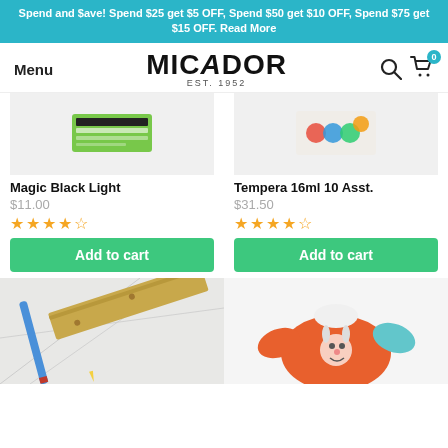Spend and $ave! Spend $25 get $5 OFF, Spend $50 get $10 OFF, Spend $75 get $15 OFF. Read More
[Figure (logo): Micador EST. 1952 logo with Menu text and search/cart icons]
[Figure (photo): Magic Black Light product - green packaging, top left product image]
Magic Black Light
$11.00
★★★★★
Add to cart
[Figure (photo): Tempera 16ml 10 Asst. product - right side, light background]
Tempera 16ml 10 Asst.
$31.50
★★★★★
Add to cart
[Figure (photo): Pencil and wooden ruler on paper with geometric drawing lines]
[Figure (photo): Orange children's art smock/apron with cartoon rabbit character]